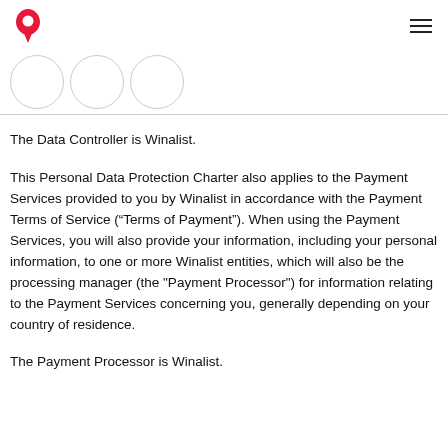Winalist logo and navigation menu
[Figure (illustration): Three overlapping avatar circles in a row, outlined in light gray on white background]
The Data Controller is Winalist.
This Personal Data Protection Charter also applies to the Payment Services provided to you by Winalist in accordance with the Payment Terms of Service (“Terms of Payment”). When using the Payment Services, you will also provide your information, including your personal information, to one or more Winalist entities, which will also be the processing manager (the "Payment Processor") for information relating to the Payment Services concerning you, generally depending on your country of residence.
The Payment Processor is Winalist.